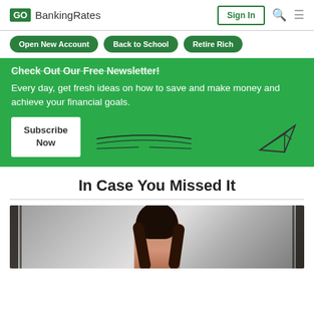GO BankingRates | Sign In
Open New Account
Back to School
Retire Rich
Check Out Our Free Newsletter!
Every day, get fresh ideas on how to save and make money and achieve your financial goals.
Subscribe Now
In Case You Missed It
[Figure (photo): Woman with long dark hair looking down, photographed indoors]